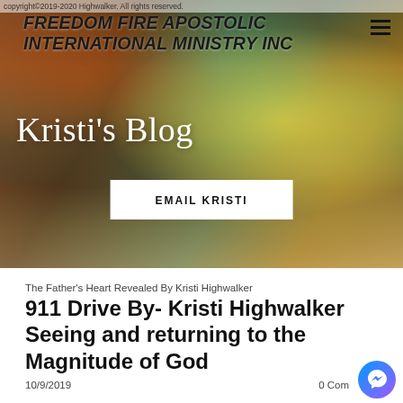copyright©2019-2020 Highwalker. All rights reserved.
[Figure (screenshot): Hero banner image for Freedom Fire Apostolic International Ministry Inc blog page, showing a composite of mystical/spiritual imagery with colorful eye, hands, cross, and nature elements. Contains ministry name, Kristi's Blog title, and EMAIL KRISTI button.]
FREEDOM FIRE APOSTOLIC INTERNATIONAL MINISTRY INC
Kristi's Blog
EMAIL KRISTI
The Father's Heart Revealed By Kristi Highwalker
911 Drive By- Kristi Highwalker Seeing and returning to the Magnitude of God
10/9/2019
0 Comments